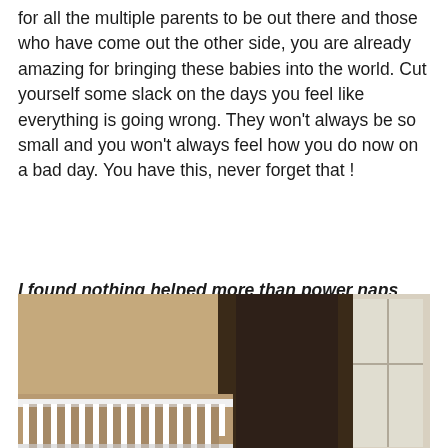for all the multiple parents to be out there and those who have come out the other side, you are already amazing for bringing these babies into the world. Cut yourself some slack on the days you feel like everything is going wrong. They won't always be so small and you won't always feel how you do now on a bad day. You have this, never forget that !
I found nothing helped more than power naps when the babies napped, because sure there is nothing else to be doing whilst your twins are napping, isn't that right!
[Figure (photo): Photo of a baby crib/cot with white railings, taken from above, showing the crib bars at the bottom and a room with curtains and a window in the background]